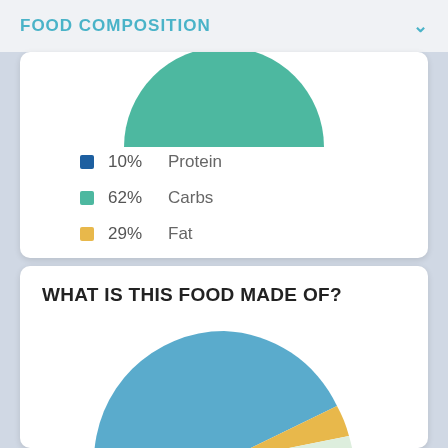FOOD COMPOSITION
[Figure (pie-chart): Food Composition]
WHAT IS THIS FOOD MADE OF?
[Figure (pie-chart): Partially visible pie chart showing food composition breakdown, with a large blue segment, small orange segment, and light segments visible.]